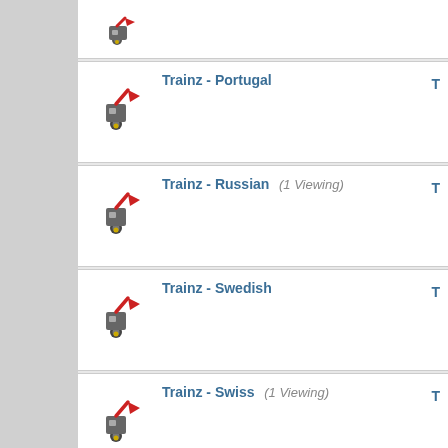Trainz - Portugal
Trainz - Russian (1 Viewing)
Trainz - Swedish
Trainz - Swiss (1 Viewing)
Mark Forums Read | View Site Lea...
What's Going On?
Currently Active Users
There are currently 869 users online. 65 members and 804 gues...